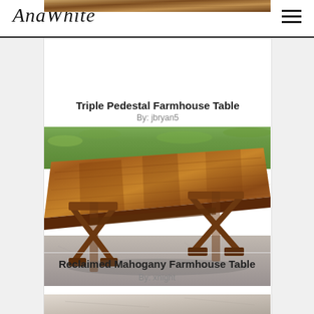AnaWhite
[Figure (photo): Partial top of a wooden table image, cropped at top of visible area]
Triple Pedestal Farmhouse Table
By: jbryan5
[Figure (photo): Reclaimed mahogany farmhouse trestle table with X-style legs, photographed outdoors on pavement with grass in background. Rich warm brown wood tones.]
Reclaimed Mahogany Farmhouse Table
By: xnight
[Figure (photo): Partial bottom of next listing image, cropped at bottom of page]